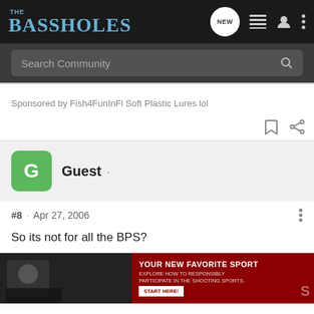THE BASSHOLES
Sponsored by Fish4FunInFl Soft Plastic Lures lol
Guest ·
#8 · Apr 27, 2006
So its not for all the BPS?
[Figure (screenshot): Ad banner: YOUR NEW FAVORITE SPORT - EXPLORE HOW TO RESPONSIBLY PARTICIPATE IN THE SHOOTING SPORTS. START HERE!]